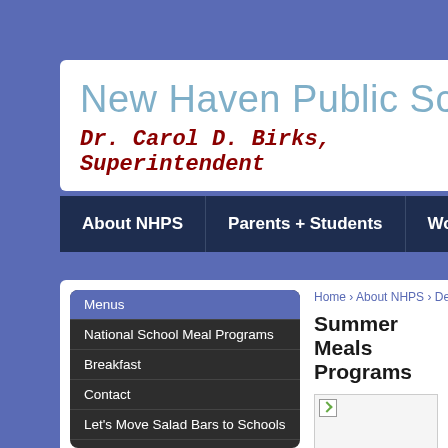New Haven Public Schools
Dr. Carol D. Birks, Superintendent
About NHPS | Parents + Students | Working At
Home › About NHPS › Departments › Food
Summer Meals Programs
Menus
National School Meal Programs
Breakfast
Contact
Let's Move Salad Bars to Schools
CulinaryTechniques
Food Allergy Information
Food Truck
HACCP in our School
[Figure (photo): Image placeholder with broken image icon, representing Summer Meals Programs photo]